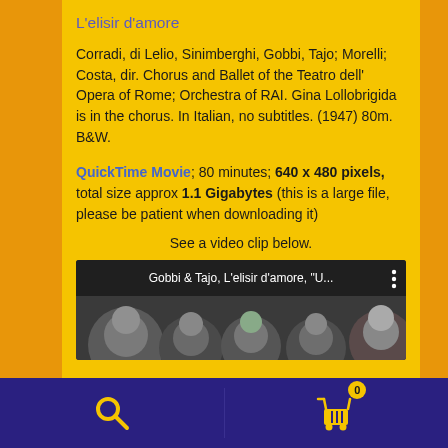L'elisir d'amore
Corradi, di Lelio, Sinimberghi, Gobbi, Tajo; Morelli; Costa, dir. Chorus and Ballet of the Teatro dell' Opera of Rome; Orchestra of RAI. Gina Lollobrigida is in the chorus. In Italian, no subtitles. (1947) 80m. B&W.
QuickTime Movie; 80 minutes; 640 x 480 pixels, total size approx 1.1 Gigabytes (this is a large file, please be patient when downloading it)
See a video clip below.
[Figure (screenshot): Video thumbnail showing grayscale still from L'elisir d'amore with text overlay 'Gobbi & Tajo, L'elisir d'amore, "U...' and three-dot menu icon]
Navigation bar with search icon and shopping cart icon showing badge 0